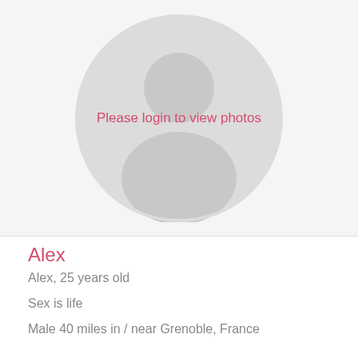[Figure (illustration): Default user avatar placeholder — a gray silhouette of a person inside a gray circle, with the text 'Please login to view photos' overlaid in pink/red in the center]
Alex
Alex, 25 years old
Sex is life
Male 40 miles in / near Grenoble, France